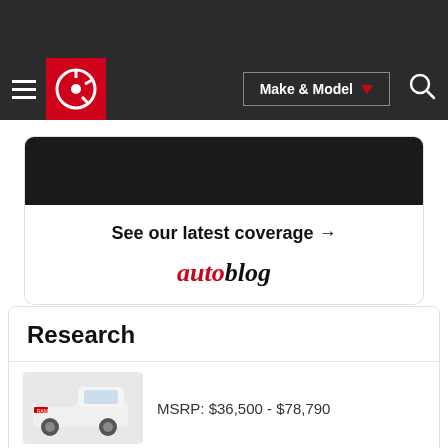[Figure (screenshot): Dark navigation bar with hamburger menu, Edmunds circular logo in red, Make & Model dropdown button, and search icon]
[Figure (infographic): Promotional card with dark image strip, 'See our latest coverage →' text, and autoblog logo]
Research
MSRP: $36,500 - $78,790
MSRP: $20,995 - $26,860